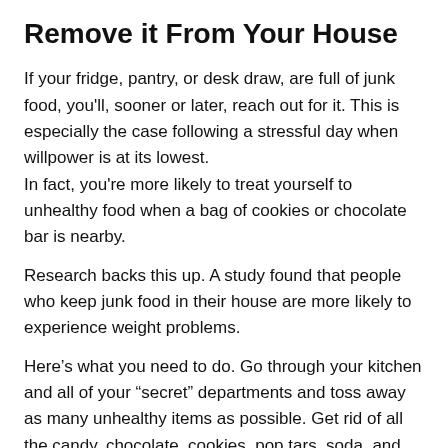Remove it From Your House
If your fridge, pantry, or desk draw, are full of junk food, you'll, sooner or later, reach out for it. This is especially the case following a stressful day when willpower is at its lowest.
In fact, you're more likely to treat yourself to unhealthy food when a bag of cookies or chocolate bar is nearby.
Research backs this up. A study found that people who keep junk food in their house are more likely to experience weight problems.
Here's what you need to do. Go through your kitchen and all of your “secret” departments and toss away as many unhealthy items as possible. Get rid of all the candy, chocolate, cookies, pop tars, soda, and other junk food. Declare your house a junk-food-free zone and aim to keep